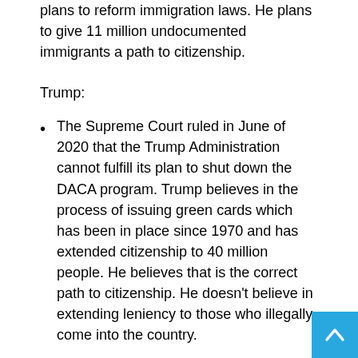plans to reform immigration laws. He plans to give 11 million undocumented immigrants a path to citizenship.
Trump:
The Supreme Court ruled in June of 2020 that the Trump Administration cannot fulfill its plan to shut down the DACA program. Trump believes in the process of issuing green cards which has been in place since 1970 and has extended citizenship to 40 million people. He believes that is the correct path to citizenship. He doesn't believe in extending leniency to those who illegally come into the country.
Should transgender people be allowed to serve in the military?
Biden: